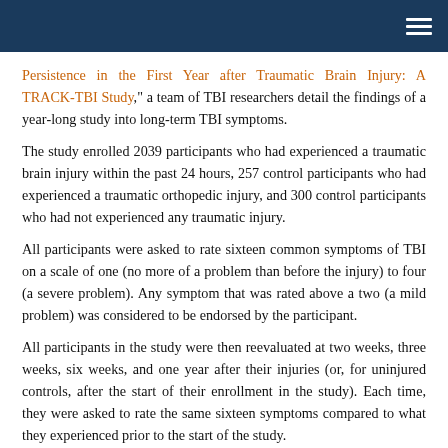[Navigation bar with hamburger menu]
Persistence in the First Year after Traumatic Brain Injury: A TRACK-TBI Study," a team of TBI researchers detail the findings of a year-long study into long-term TBI symptoms.
The study enrolled 2039 participants who had experienced a traumatic brain injury within the past 24 hours, 257 control participants who had experienced a traumatic orthopedic injury, and 300 control participants who had not experienced any traumatic injury.
All participants were asked to rate sixteen common symptoms of TBI on a scale of one (no more of a problem than before the injury) to four (a severe problem). Any symptom that was rated above a two (a mild problem) was considered to be endorsed by the participant.
All participants in the study were then reevaluated at two weeks, three weeks, six weeks, and one year after their injuries (or, for uninjured controls, after the start of their enrollment in the study). Each time, they were asked to rate the same sixteen symptoms compared to what they experienced prior to the start of the study.